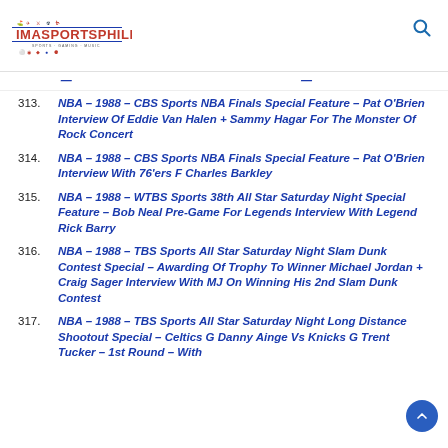IMASPORTSPHILE
313. NBA – 1988 – CBS Sports NBA Finals Special Feature – Pat O'Brien Interview Of Eddie Van Halen + Sammy Hagar For The Monster Of Rock Concert
314. NBA – 1988 – CBS Sports NBA Finals Special Feature – Pat O'Brien Interview With 76'ers F Charles Barkley
315. NBA – 1988 – WTBS Sports 38th All Star Saturday Night Special Feature – Bob Neal Pre-Game For Legends Interview With Legend Rick Barry
316. NBA – 1988 – TBS Sports All Star Saturday Night Slam Dunk Contest Special – Awarding Of Trophy To Winner Michael Jordan + Craig Sager Interview With MJ On Winning His 2nd Slam Dunk Contest
317. NBA – 1988 – TBS Sports All Star Saturday Night Long Distance Shootout Special – Celtics G Danny Ainge Vs Knicks G Trent Tucker – 1st Round – With